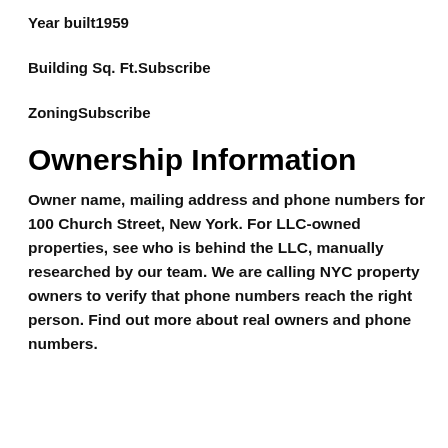Year built1959
Building Sq. Ft.Subscribe
ZoningSubscribe
Ownership Information
Owner name, mailing address and phone numbers for 100 Church Street, New York. For LLC-owned properties, see who is behind the LLC, manually researched by our team. We are calling NYC property owners to verify that phone numbers reach the right person. Find out more about real owners and phone numbers.